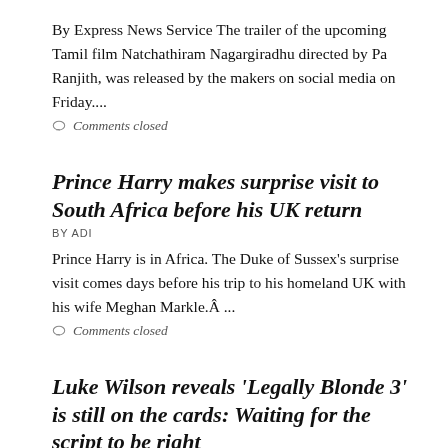By Express News Service The trailer of the upcoming Tamil film Natchathiram Nagargiradhu directed by Pa Ranjith, was released by the makers on social media on Friday....
Comments closed
Prince Harry makes surprise visit to South Africa before his UK return
BY ADI
Prince Harry is in Africa. The Duke of Sussex's surprise visit comes days before his trip to his homeland UK with his wife Meghan Markle.Â ...
Comments closed
Luke Wilson reveals 'Legally Blonde 3' is still on the cards: Waiting for the script to be right
BY ADI
For those who have loved the 'Legally Blonde' films,